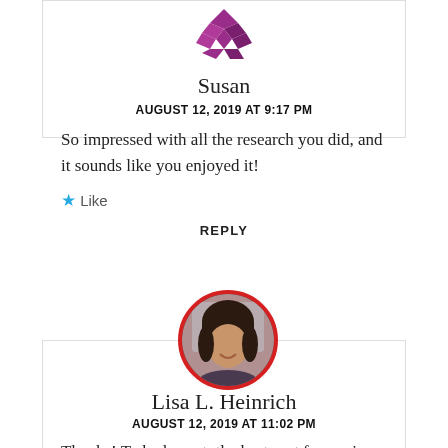[Figure (illustration): Purple geometric/diamond patterned avatar icon for Susan]
Susan
AUGUST 12, 2019 AT 9:17 PM
So impressed with all the research you did, and it sounds like you enjoyed it!
★ Like
REPLY
[Figure (photo): Circular profile photo of Lisa L. Heinrich with red border]
Lisa L. Heinrich
AUGUST 12, 2019 AT 11:02 PM
Thanks! To be honest, the best part for me is